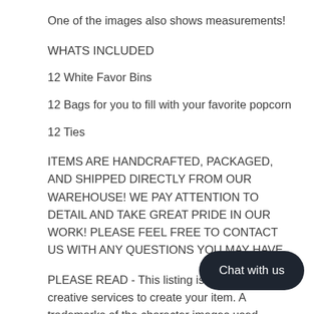One of the images also shows measurements!
WHATS INCLUDED
12 White Favor Bins
12 Bags for you to fill with your favorite popcorn
12 Ties
ITEMS ARE HANDCRAFTED, PACKAGED, AND SHIPPED DIRECTLY FROM OUR WAREHOUSE! WE PAY ATTENTION TO DETAIL AND TAKE GREAT PRIDE IN OUR WORK! PLEASE FEEL FREE TO CONTACT US WITH ANY QUESTIONS YOU MAY HAVE.
PLEASE READ - This listing is strictly fo... creative services to create your item. A... trademarks of the character images used belong to their respective owners and are not being sold. This item is not a